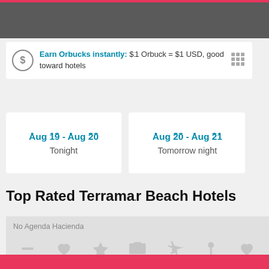Earn Orbucks instantly: $1 Orbuck = $1 USD, good toward hotels
Aug 19 - Aug 20
Tonight
Aug 20 - Aug 21
Tomorrow night
Top Rated Terramar Beach Hotels
[Figure (screenshot): No Agenda Hacienda hotel image placeholder with icon grid on gray background]